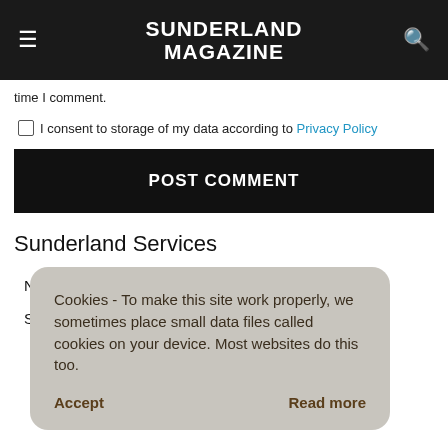SUNDERLAND MAGAZINE
time I comment.
I consent to storage of my data according to Privacy Policy
POST COMMENT
Sunderland Services
North East Advertising
Sunderland Website Design
Cookies - To make this site work properly, we sometimes place small data files called cookies on your device. Most websites do this too.
Accept
Read more